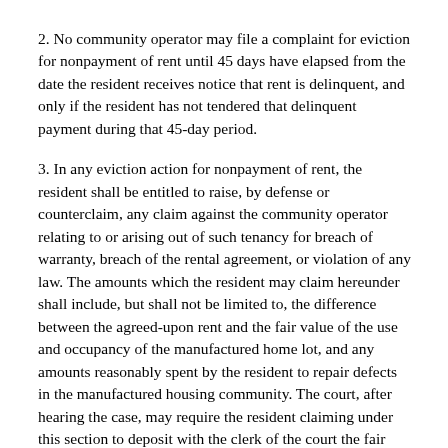2. No community operator may file a complaint for eviction for nonpayment of rent until 45 days have elapsed from the date the resident receives notice that rent is delinquent, and only if the resident has not tendered that delinquent payment during that 45-day period.
3. In any eviction action for nonpayment of rent, the resident shall be entitled to raise, by defense or counterclaim, any claim against the community operator relating to or arising out of such tenancy for breach of warranty, breach of the rental agreement, or violation of any law. The amounts which the resident may claim hereunder shall include, but shall not be limited to, the difference between the agreed-upon rent and the fair value of the use and occupancy of the manufactured home lot, and any amounts reasonably spent by the resident to repair defects in the manufactured housing community. The court, after hearing the case, may require the resident claiming under this section to deposit with the clerk of the court the fair value of the use and occupation of the premises less the amount awarded the resident for any claim under this section, or such installments thereof from time to time as the court may direct. Such funds may be expended as the court may direct.